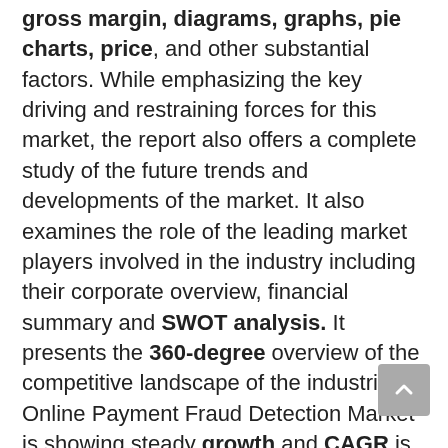gross margin, diagrams, graphs, pie charts, price, and other substantial factors. While emphasizing the key driving and restraining forces for this market, the report also offers a complete study of the future trends and developments of the market. It also examines the role of the leading market players involved in the industry including their corporate overview, financial summary and SWOT analysis. It presents the 360-degree overview of the competitive landscape of the industries. Online Payment Fraud Detection Market is showing steady growth and CAGR is expected to improve during the forecast period.
Click Here To Get Free Sample